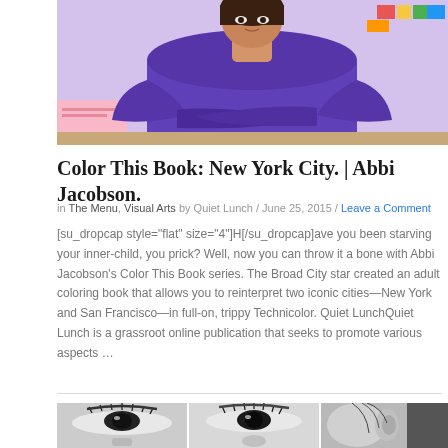[Figure (photo): Person wearing a purple hoodie with arms crossed, seated in what appears to be a classroom setting]
Color This Book: New York City. | Abbi Jacobson.
in The Menu, Visual Arts by Quiet Lunch / June 25, 2015 / Leave a Comment
[su_dropcap style="flat" size="4"]H[/su_dropcap]ave you been starving your inner-child, you prick? Well, now you can throw it a bone with Abbi Jacobson's Color This Book series. The Broad City star created an adult coloring book that allows you to reinterpret two iconic cities—New York and San Francisco—in full-on, trippy Technicolor. Quiet LunchQuiet Lunch is a grassroot online publication that seeks to promote various aspects …
[Figure (photo): Black and white collage of close-up facial features — three panels showing eyes, nose, and an ear/profile from different women]